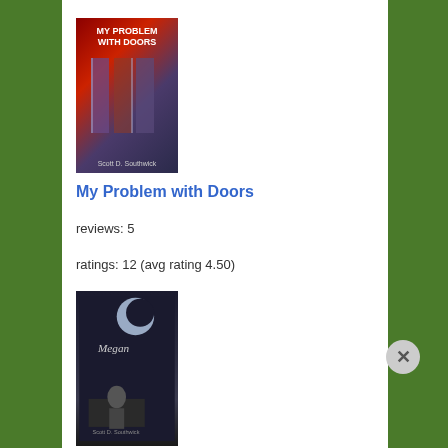[Figure (illustration): Book cover for 'My Problem with Doors' — red/purple gradient with illustrated doors and title text in white]
My Problem with Doors
reviews: 5
ratings: 12 (avg rating 4.50)
[Figure (illustration): Book cover for 'Megan' — dark monochromatic cover with moon imagery and a silhouetted figure]
Megan
Advertisements
[Figure (infographic): DuckDuckGo advertisement banner: 'Search, browse, and email with more privacy. All in One Free App' on orange-red background with phone graphic]